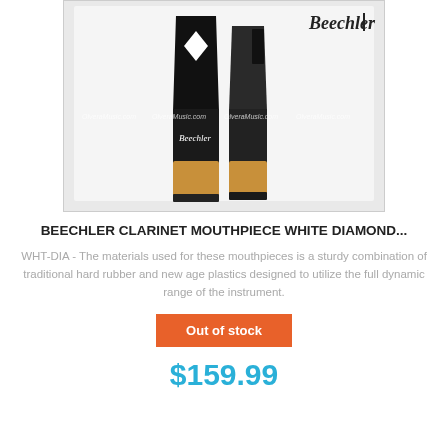[Figure (photo): Two Beechler clarinet mouthpieces side by side, black hard rubber with cork bases, on a light grey background. The left mouthpiece shows the front (white diamond inlay visible, 'Beechler' text). The right mouthpiece shows the side/back. 'Beechler' logo text in top right of image. OlveraMusic.com watermark repeated across the middle.]
BEECHLER CLARINET MOUTHPIECE WHITE DIAMOND...
WHT-DIA - The materials used for these mouthpieces is a sturdy combination of traditional hard rubber and new age plastics designed to utilize the full dynamic range of the instrument.
Out of stock
$159.99